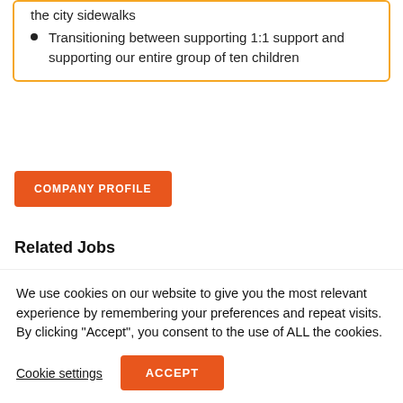the city sidewalks
Transitioning between supporting 1:1 support and supporting our entire group of ten children
COMPANY PROFILE
Related Jobs
Apply by Oct 01, 2022
We use cookies on our website to give you the most relevant experience by remembering your preferences and repeat visits. By clicking "Accept", you consent to the use of ALL the cookies.
Cookie settings
ACCEPT